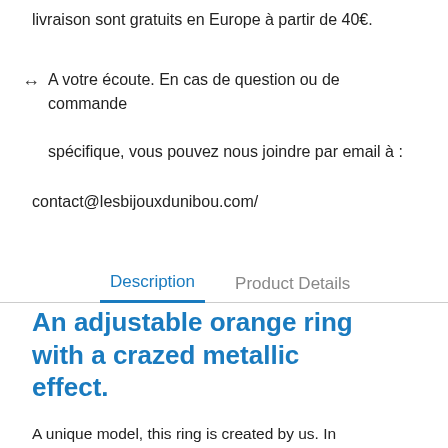livraison sont gratuits en Europe à partir de 40€.
↔ A votre écoute. En cas de question ou de commande spécifique, vous pouvez nous joindre par email à :
contact@lesbijouxdunibou.com/
Description	Product Details
An adjustable orange ring with a crazed metallic effect.
A unique model, this ring is created by us. In